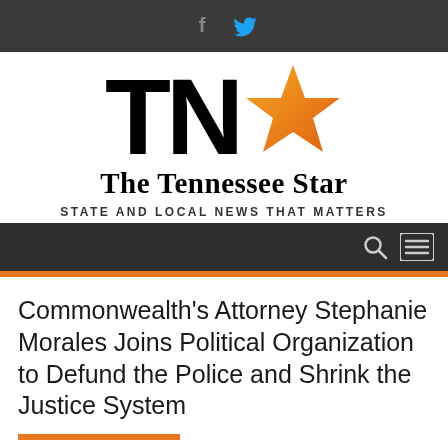The Tennessee Star — STATE AND LOCAL NEWS THAT MATTERS
[Figure (logo): The Tennessee Star logo with large bold TN letters and an orange star, with tagline STATE AND LOCAL NEWS THAT MATTERS]
Commonwealth's Attorney Stephanie Morales Joins Political Organization to Defund the Police and Shrink the Justice System